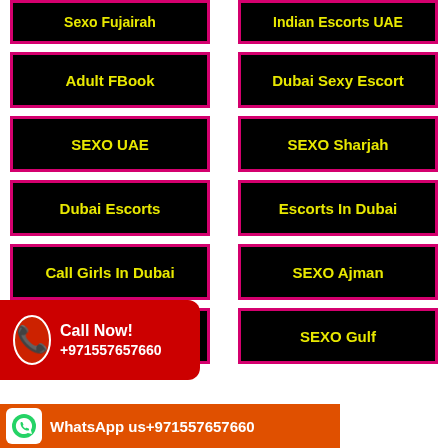[Figure (infographic): Grid of black buttons with yellow text and magenta borders: Sexo Fujairah, Indian Escorts UAE, Adult FBook, Dubai Sexy Escort, SEXO UAE, SEXO Sharjah, Dubai Escorts, Escorts In Dubai, Call Girls In Dubai, SEXO Ajman, Dubai Escorts Girl, SEXO Gulf]
Call Now! +971557657660
WhatsApp us+971557657660